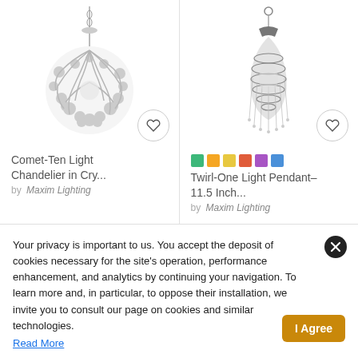[Figure (photo): Comet-Ten Light Chandelier in crystal/chrome style, spherical shape with leafy metal arms]
Comet-Ten Light Chandelier in Cry...
by Maxim Lighting
[Figure (photo): Twirl-One Light Pendant 11.5 Inch, elongated teardrop shape with crystal strands]
Twirl-One Light Pendant-11.5 Inch...
by Maxim Lighting
Your privacy is important to us. You accept the deposit of cookies necessary for the site's operation, performance enhancement, and analytics by continuing your navigation. To learn more and, in particular, to oppose their installation, we invite you to consult our page on cookies and similar technologies.
Read More